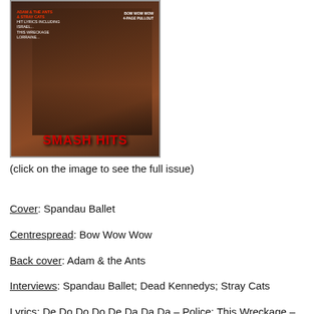[Figure (photo): Magazine cover featuring Spandau Ballet with text overlays including 'Adam & the Ants', 'Stray Cats', 'Bow Wow Wow 4-Page Pullout', and the Smash Hits logo in red at the bottom]
(click on the image to see the full issue)
Cover: Spandau Ballet
Centrespread: Bow Wow Wow
Back cover: Adam & the Ants
Interviews: Spandau Ballet; Dead Kennedys; Stray Cats
Lyrics: De Do Do Do De Da Da Da – Police; This Wreckage – Gary Numan; Runaway Boys – Stray Cats; Hungry Heart – Bruce Springsteen; December Will Be Wonderful Again – Kate Bush; Israel – Siouxsie & the Banshees; Lorraine – Bad Manners; Stop The Cavalry - Jona Lewie; Celebrate – Kool & the Gang; Sexy Eiffel Towers, Sun Sea & Piracy, Uomo Sex El Apache, Louis Quatorze, Gold He Said - Bow Wow Wow; Too Nice To Talk To – The Beat; Woman In Winter – Skids; Ant Music – Adam & the Ants; Boys Don't Cry – The